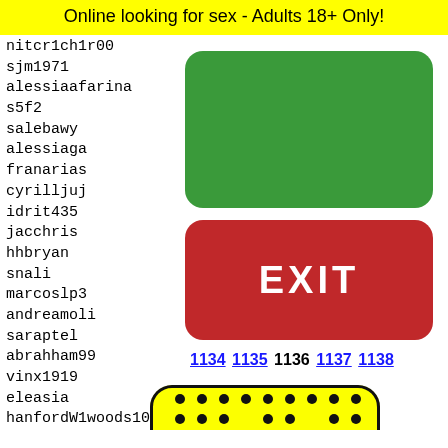Online looking for sex - Adults 18+ Only!
nitcr1ch1r00
sjm1971
alessiaafarina
s5f2
salebawy
alessiaga
franarias
cyrilljuj
idrit435
jacchris
hhbryan
snali
marcoslp3
andreamoli
saraptel
abrahham99
vinx1919
eleasia
hanfordW1woods10
oktahkoppektop
scarle
juyjo5
SexyCl
joorrd
merona
Poop20
[Figure (other): Green rounded rectangle button (no label)]
[Figure (other): Red rounded rectangle EXIT button]
1134 1135 1136 1137 1138
[Figure (other): Snapchat ghost logo on yellow background with black dots border]